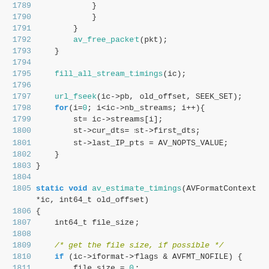Source code listing lines 1790-1812, C programming language, showing av_estimate_timings function and related code
[Figure (screenshot): Code listing of C source code showing lines 1790-1812 with syntax highlighting. Line numbers in blue on left, code in teal/blue/green monospace font on light gray background.]